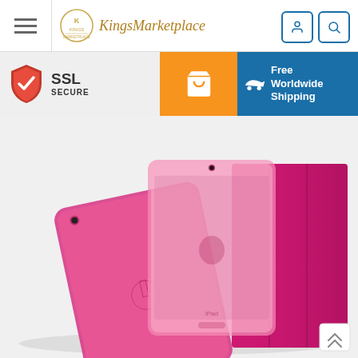Kings Marketplace – navigation header with hamburger menu, logo, user and search icons
[Figure (screenshot): E-commerce website screenshot showing Kings Marketplace header, SSL Secure badge, orange cart button, Free Worldwide Shipping banner, and product photo of pink iPad Smart Case (front and back view)]